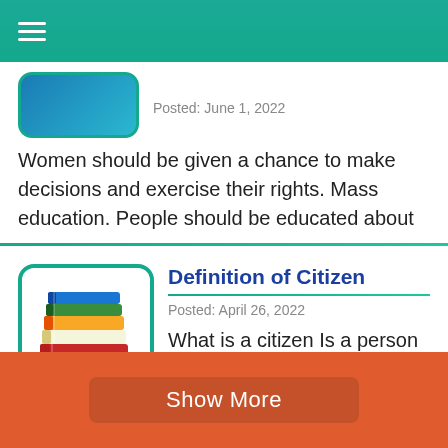≡ (menu icon)
Posted: June 1, 2022
Women should be given a chance to make decisions and exercise their rights. Mass education. People should be educated about
Definition of Citizen
Posted: April 26, 2022
What is a citizen Is a person who belongs to a particular country A citizen has full rights as a
Show More